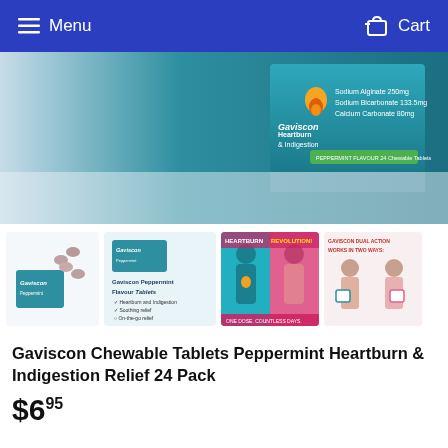Menu  Cart
[Figure (photo): Gaviscon Peppermint Chewable Tablets 24 pack product box showing Sodium Alginate 250mg, Sodium Bicarbonate 133.5mg, Calcium Carbonate 80mg, Heartburn & Indigestion label]
[Figure (photo): Thumbnail 1: Gaviscon box with scattered tablets]
[Figure (photo): Thumbnail 2: Gaviscon Peppermint Flavour Tablets with product description and checkmarks]
[Figure (photo): Thumbnail 3: Two men, one in teal shirt and one in pink shirt, heartburn and revolution campaign image]
[Figure (photo): Thumbnail 4: Gaviscon dual action works in two ways campaign image with two men]
Gaviscon Chewable Tablets Peppermint Heartburn & Indigestion Relief 24 Pack
$6.95